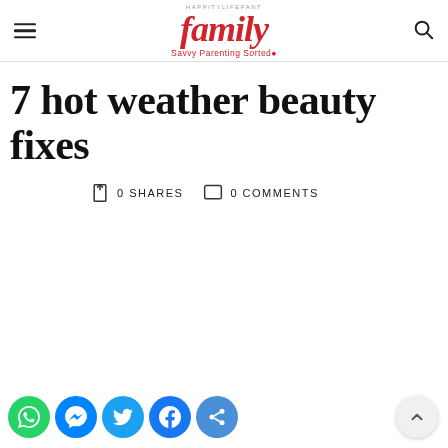family – Savvy Parenting Sorted
7 hot weather beauty fixes
0 SHARES  0 COMMENTS
[Figure (other): Blank white content area below the article title]
[Figure (infographic): Bottom social sharing buttons: WhatsApp, Messenger, Twitter, Facebook, Share; and a back-to-top arrow button on the right]